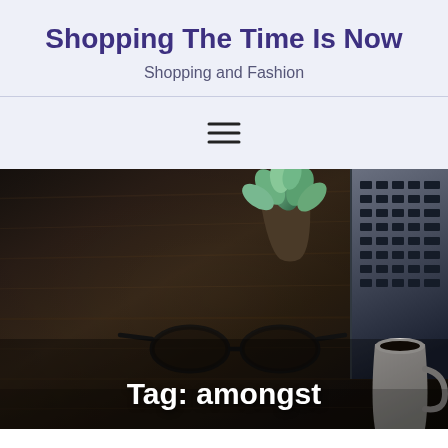Shopping The Time Is Now
Shopping and Fashion
[Figure (illustration): Hamburger menu icon (three horizontal lines)]
[Figure (photo): Dark wooden desk surface with a small green succulent plant, a pair of black glasses, a laptop keyboard visible on the right edge, and a white coffee cup in the bottom right corner]
Tag: amongst